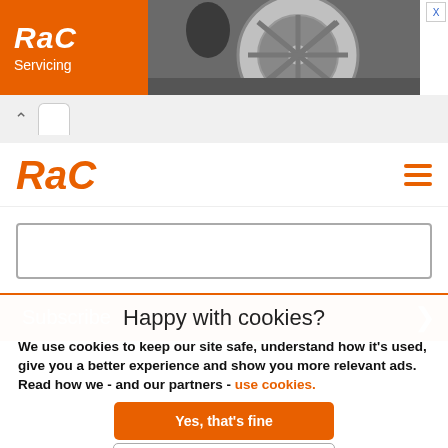[Figure (screenshot): RAC Servicing ad banner with orange box containing RAC logo and 'Servicing' text, and a photo of a car wheel on the right]
[Figure (screenshot): Browser chrome strip with back arrow and white tab]
[Figure (logo): RAC logo in orange italic text with hamburger menu icon on the right]
[Figure (screenshot): Email input field box]
[Figure (screenshot): Orange Subscribe button with right arrow]
Happy with cookies?
We use cookies to keep our site safe, understand how it's used, give you a better experience and show you more relevant ads. Read how we - and our partners - use cookies.
[Figure (screenshot): Orange 'Yes, that's fine' button]
[Figure (screenshot): White 'No, manage cookies' button with border]